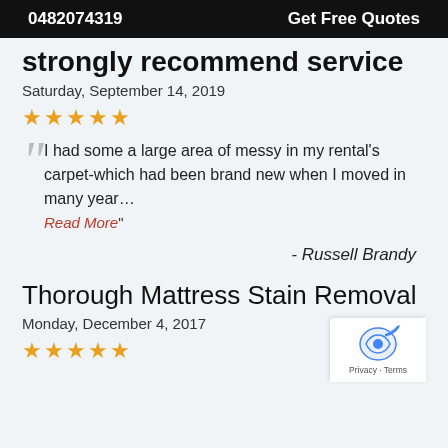0482074319   Get Free Quotes
strongly recommend service
Saturday, September 14, 2019
★★★★★
I had some a large area of messy in my rental's carpet-which had been brand new when I moved in many year… Read More"
- Russell Brandy
Thorough Mattress Stain Removal
Monday, December 4, 2017
★★★★★